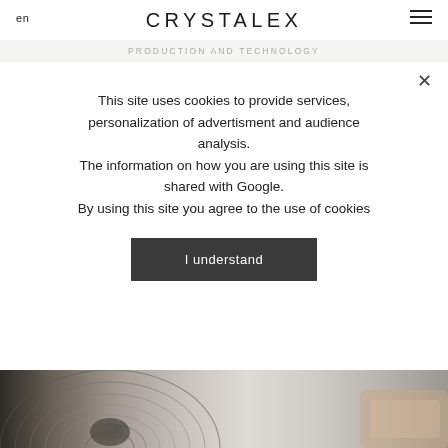en  CRYSTALEX  ☰
PRODUCTION AND TECHNOLOGY
This site uses cookies to provide services, personalization of advertisment and audience analysis.
The information on how you are using this site is shared with Google.
By using this site you agree to the use of cookies
I understand
[Figure (photo): Close-up photo of a person's hands working with clay on a pottery wheel, showing concentric circles on the clay.]